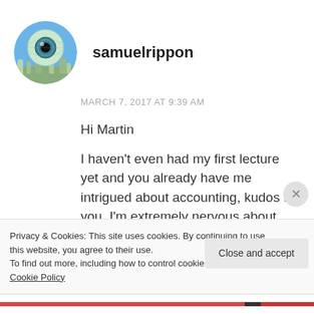[Figure (photo): Circular avatar image of user samuelrippon, showing an artistic eye-globe illustration with blue and teal tones over a city landscape background]
samuelrippon
MARCH 7, 2017 AT 9:39 AM
Hi Martin

I haven't even had my first lecture yet and you already have me intrigued about accounting, kudos to you. I'm extremely nervous about this unit and university in general but hopefully that
Privacy & Cookies: This site uses cookies. By continuing to use this website, you agree to their use.
To find out more, including how to control cookies, see here: Cookie Policy
Close and accept